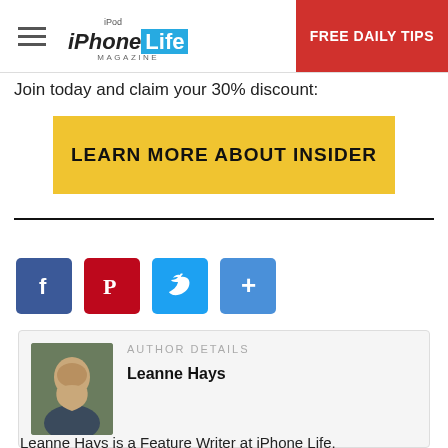iPhone Life Magazine — FREE DAILY TIPS
Join today and claim your 30% discount:
LEARN MORE ABOUT INSIDER
[Figure (infographic): Social sharing icons: Facebook (blue), Pinterest (red), Twitter (blue), More/Share (blue)]
AUTHOR DETAILS
Leanne Hays
Leanne Hays is a Feature Writer at iPhone Life,